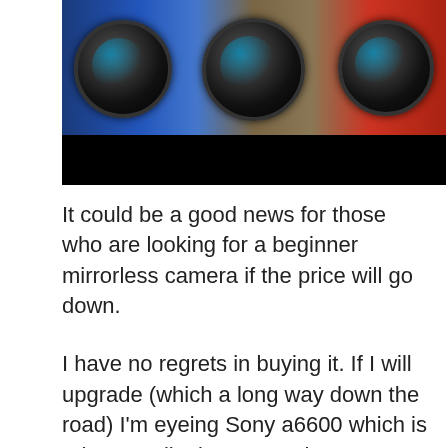[Figure (photo): Three black camera lenses laid on a wooden surface with blue and red colored lighting, with a black bar below the photo]
It could be a good news for those who are looking for a beginner mirrorless camera if the price will go down.
I have no regrets in buying it. If I will upgrade (which a long way down the road) I'm eyeing Sony a6600 which is pricey. Well, I better not drop my camera.
With the upcoming sale, what mirrorless